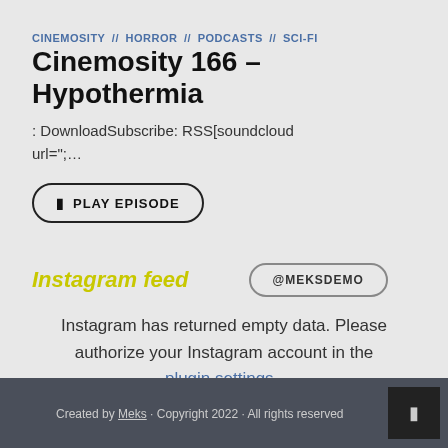CINEMOSITY // HORROR // PODCASTS // SCI-FI
Cinemosity 166 – Hypothermia
: DownloadSubscribe: RSS[soundcloud url=";...
PLAY EPISODE
Instagram feed
@MEKSDEMO
Instagram has returned empty data. Please authorize your Instagram account in the plugin settings .
Created by Meks · Copyright 2022 · All rights reserved